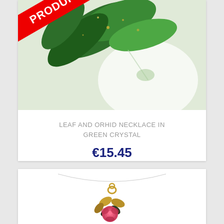[Figure (photo): Product card showing a leaf and orchid necklace in green crystal with a red diagonal 'PRODUIT EPUISE' (sold out) banner overlaid on the product image. Below the image is the product name in gray uppercase text and the price in dark blue.]
LEAF AND ORHID NECKLACE IN GREEN CRYSTAL
€15.45
[Figure (photo): Bottom portion of a second product card showing a gold and dark red/pink rose pendant necklace on a thin chain against a white background.]